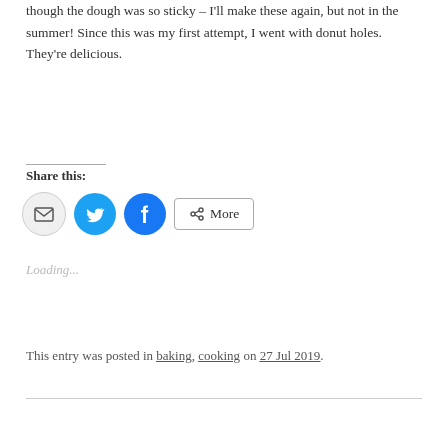though the dough was so sticky – I'll make these again, but not in the summer!  Since this was my first attempt, I went with donut holes.  They're delicious.
Share this:
[Figure (other): Social sharing buttons: email icon (grey circle), Twitter bird icon (blue circle), Facebook f icon (blue circle), and a More button with share icon]
Loading...
This entry was posted in baking, cooking on 27 Jul 2019.